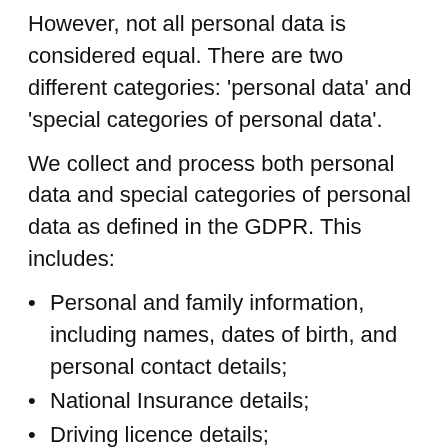However, not all personal data is considered equal. There are two different categories: 'personal data' and 'special categories of personal data'.
We collect and process both personal data and special categories of personal data as defined in the GDPR. This includes:
Personal and family information, including names, dates of birth, and personal contact details;
National Insurance details;
Driving licence details;
Financial details such as financial status and bank details;
Records of goods and services relevant to the